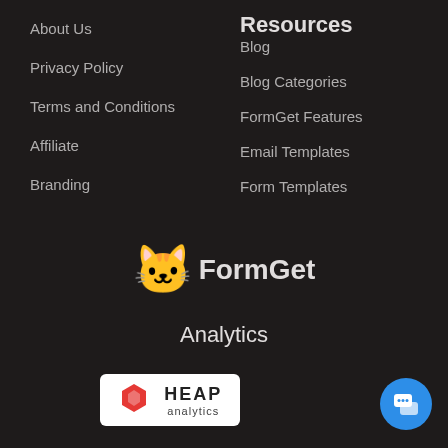About Us
Privacy Policy
Terms and Conditions
Affiliate
Branding
Resources
Blog
Blog Categories
FormGet Features
Email Templates
Form Templates
[Figure (logo): FormGet logo with cartoon cat mascot and bold text 'FormGet']
Analytics
[Figure (logo): Heap analytics logo badge on white background with hexagon icon]